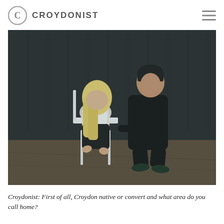CROYDONIST
[Figure (photo): Two performers on a dark stage. A blonde woman in a white sleeveless top and black trousers sits hunched on a white chair, head bowed, long hair falling forward. A dark-haired man in an all-black outfit kneels beside her, looking at her with concern.]
Croydonist: First of all, Croydon native or convert and what area do you call home?